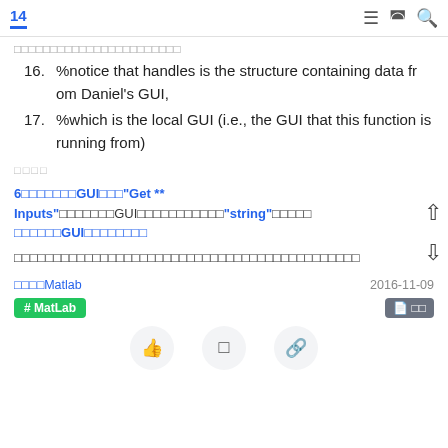14
16. %notice that handles is the structure containing data from Daniel's GUI,
17. %which is the local GUI (i.e., the GUI that this function is running from)
□□□□
6□□□□□□□GUI□□□"Get ** Inputs"□□□□□□□GUI□□□□□□□□□□□"string"□□□□□□  □□□□□□GUI□□□□□□□□
□□□□□□□□□□□□□□□□□□□□□□□□□□□□□□□□□□□□□□□□□□
□□□□Matlab   2016-11-09
# MatLab   □□
↑  ↓